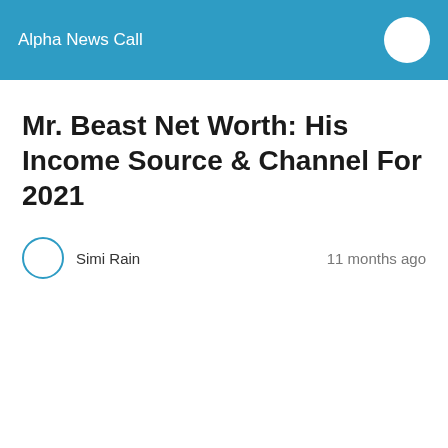Alpha News Call
Mr. Beast Net Worth: His Income Source & Channel For 2021
Simi Rain   11 months ago